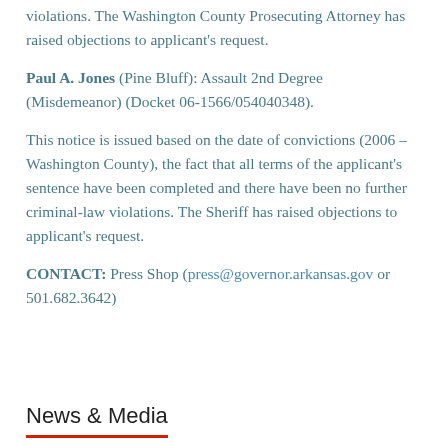violations. The Washington County Prosecuting Attorney has raised objections to applicant's request.
Paul A. Jones (Pine Bluff): Assault 2nd Degree (Misdemeanor) (Docket 06-1566/054040348).
This notice is issued based on the date of convictions (2006 – Washington County), the fact that all terms of the applicant's sentence have been completed and there have been no further criminal-law violations. The Sheriff has raised objections to applicant's request.
CONTACT: Press Shop (press@governor.arkansas.gov or 501.682.3642)
News & Media